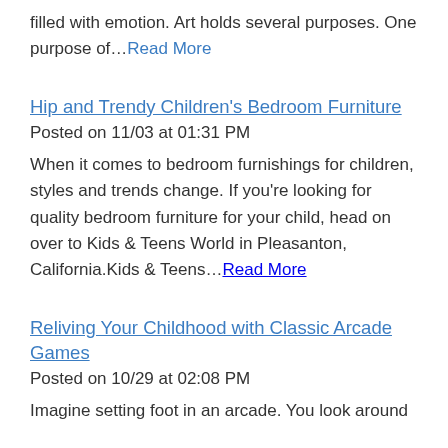filled with emotion. Art holds several purposes. One purpose of...Read More
Hip and Trendy Children's Bedroom Furniture
Posted on 11/03 at 01:31 PM
When it comes to bedroom furnishings for children, styles and trends change. If you're looking for quality bedroom furniture for your child, head on over to Kids & Teens World in Pleasanton, California.Kids & Teens...Read More
Reliving Your Childhood with Classic Arcade Games
Posted on 10/29 at 02:08 PM
Imagine setting foot in an arcade. You look around